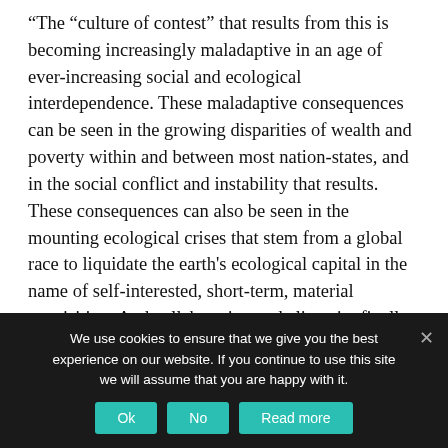“The “culture of contest” that results from this is becoming increasingly maladaptive in an age of ever-increasing social and ecological interdependence. These maladaptive consequences can be seen in the growing disparities of wealth and poverty within and between most nation-states, and in the social conflict and instability that results. These consequences can also be seen in the mounting ecological crises that stem from a global race to liquidate the earth's ecological capital in the name of self-interested, short-term, material acquisition. And collaboration and alienationfinally, these consequences can be seen in the growing epidemic of
We use cookies to ensure that we give you the best experience on our website. If you continue to use this site we will assume that you are happy with it.